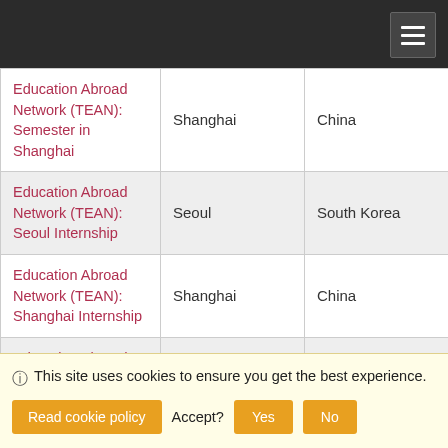| Program | City | Country |
| --- | --- | --- |
| Education Abroad Network (TEAN): Semester in Shanghai | Shanghai | China |
| Education Abroad Network (TEAN): Seoul Internship | Seoul | South Korea |
| Education Abroad Network (TEAN): Shanghai Internship | Shanghai | China |
| Education Abroad Network (TEAN): Singapore Internship | Singapore | Singapore |
| Education Abroad Network (TEAN): [partial] |  |  |
| Education Abroad Network (TEAN): | Tokyo | Japan |
ⓘ This site uses cookies to ensure you get the best experience. Read cookie policy  Accept?  Yes  No